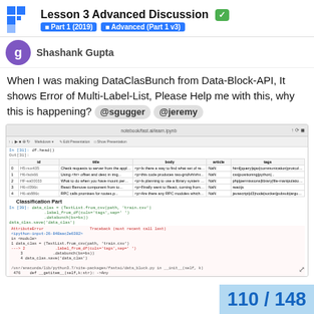Lesson 3 Advanced Discussion ✅ Part 1 (2019) Advanced (Part 1 v3)
Shashank Gupta
When I was making DataClasBunch from Data-Block-API, It shows Error of Multi-Label-List, Please Help me with this, why this is happening? @sgugger @jeremy
[Figure (screenshot): Jupyter notebook screenshot showing df.head() output with a dataframe of columns id, title, body, article, tags, followed by Classification Part section with code for data_clas = (TextList.from_csv(...)) and an AttributeError traceback showing 'MultiCategoryList' object has no attribute 'databunch', followed by data_clas.show_batch() cell]
110 / 148